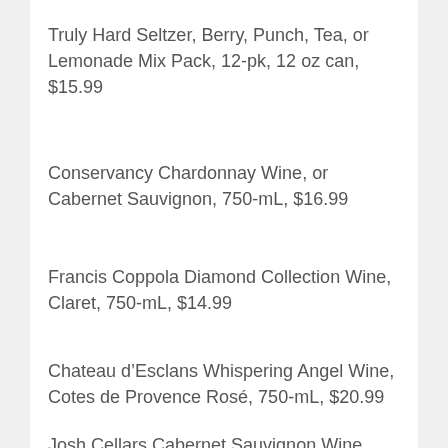Truly Hard Seltzer, Berry, Punch, Tea, or Lemonade Mix Pack, 12-pk, 12 oz can, $15.99
Conservancy Chardonnay Wine, or Cabernet Sauvignon, 750-mL, $16.99
Francis Coppola Diamond Collection Wine, Claret, 750-mL, $14.99
Chateau d’Esclans Whispering Angel Wine, Cotes de Provence Rosé, 750-mL, $20.99
Josh Cellars Cabernet Sauvignon Wine,